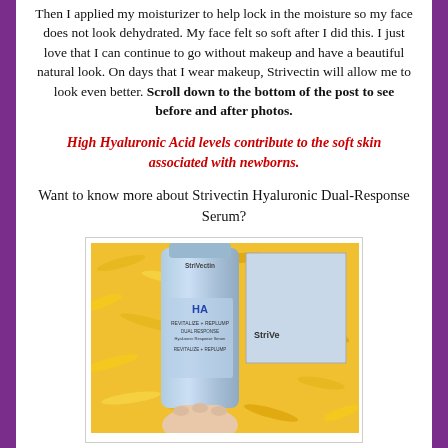Then I applied my moisturizer to help lock in the moisture so my face does not look dehydrated. My face felt so soft after I did this. I just love that I can continue to go without makeup and have a beautiful natural look. On days that I wear makeup, Strivectin will allow me to look even better. Scroll down to the bottom of the post to see before and after photos.
High Hyaluronic Acid levels contribute to the soft skin associated with newborns.
Want to know more about Strivectin Hyaluronic Dual-Response Serum?
[Figure (photo): Photo of a StriVectin Hyaluronic Dual-Response Serum bottle being held by a hand against a yellow shredded paper background with StriVectin box visible in the background]